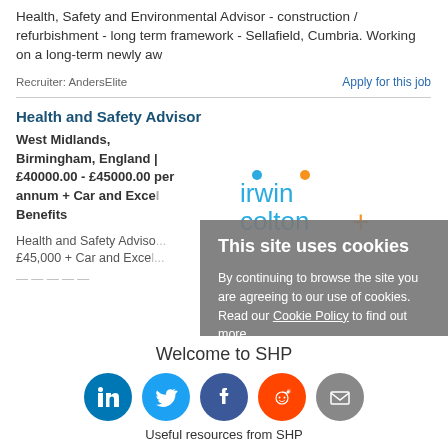Health, Safety and Environmental Advisor - construction / refurbishment - long term framework - Sellafield, Cumbria. Working on a long-term newly aw
Recruiter: AndersElite   Apply for this job
Health and Safety Advisor
West Midlands, Birmingham, England | £40000.00 - £45000.00 per annum + Car and Excel Benefits
Health and Safety Adviso... £45,000 + Car and Excel...
[Figure (logo): Irwin Colton+ logo in teal/cyan text with orange dot accents]
This site uses cookies
By continuing to browse the site you are agreeing to our use of cookies. Read our Cookie Policy to find out more.
I AGREE
Welcome to SHP
[Figure (illustration): Social media icons: LinkedIn, Twitter, Facebook, Reddit, Email]
Useful resources from SHP